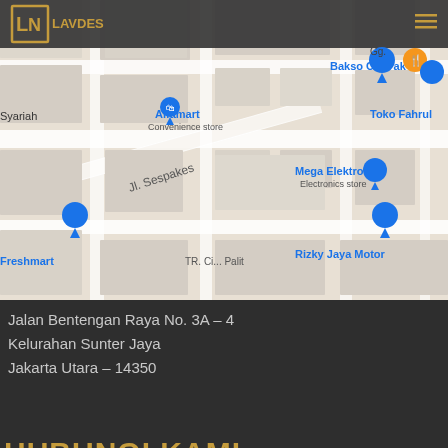[Figure (map): Google Maps screenshot showing Jalan Sespakes area in Jakarta with pins for locations including Alfamart, Bakso Cki Pak Parno, Mega Elektronik, Rizky Jaya Motor, Toko Fahrul, Freshmart, and others. The LN LAVDES logo and navigation icons are visible at the top left.]
Jalan Bentengan Raya No. 3A – 4
Kelurahan Sunter Jaya
Jakarta Utara – 14350
HUBUNGI KAMI
021- 6508971
021- 65303947
info@lavdesign.id